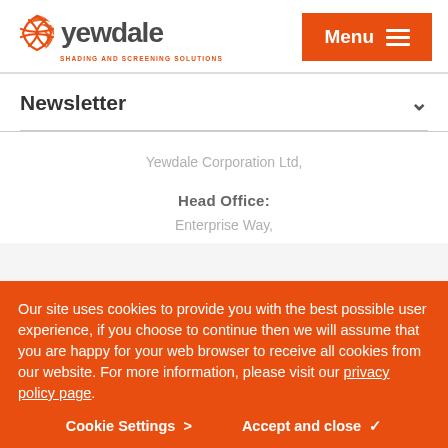[Figure (logo): Yewdale logo with orange globe icon and text 'yewdale' with tagline 'SHADING AND SCREENING SOLUTIONS']
[Figure (other): Orange 'Menu' button with hamburger icon (three horizontal lines)]
Newsletter
Yewdale Corporation Ltd,
Head Office:
Enterprise Way,
Our site uses cookies to provide you with the best possible user experience, if you choose to continue then we will assume that you are happy for your web browser to receive all cookies from our website. For more information, please visit our privacy policy page.
Cookie Settings >
Accept and close ✓